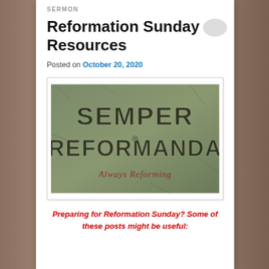SERMON
Reformation Sunday Resources
Posted on October 20, 2020
[Figure (photo): Image of cracked concrete or stone surface with carved/stenciled text reading 'SEMPER REFORMANDA' and handwritten graffiti below reading 'Always Reforming']
Preparing for Reformation Sunday? Some of these posts might be useful: